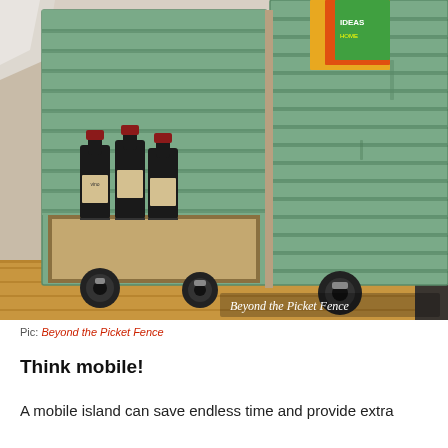[Figure (photo): A rustic DIY mobile kitchen island made from green painted wooden shutters mounted on black caster wheels. Three wine bottles are stored inside the open compartment on the left side, and magazines are visible on the top right. The piece sits on a hardwood floor. A watermark reads 'Beyond the Picket Fence'.]
Pic: Beyond the Picket Fence
Think mobile!
A mobile island can save endless time and provide extra